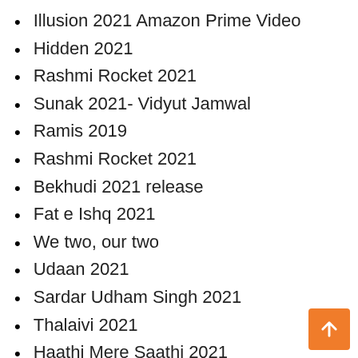Illusion 2021 Amazon Prime Video
Hidden 2021
Rashmi Rocket 2021
Sunak 2021- Vidyut Jamwal
Ramis 2019
Rashmi Rocket 2021
Bekhudi 2021 release
Fat e Ishq 2021
We two, our two
Udaan 2021
Sardar Udham Singh 2021
Thalaivi 2021
Haathi Mere Saathi 2021